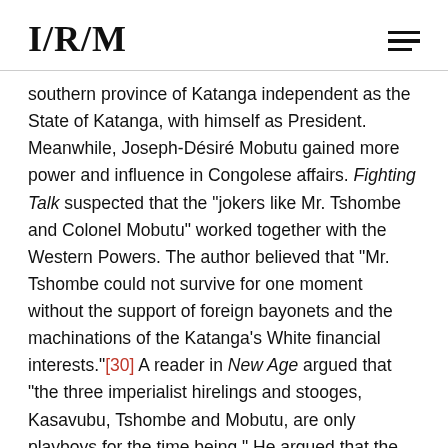I/R/M
southern province of Katanga independent as the State of Katanga, with himself as President. Meanwhile, Joseph-Désiré Mobutu gained more power and influence in Congolese affairs. Fighting Talk suspected that the "jokers like Mr. Tshombe and Colonel Mobutu" worked together with the Western Powers. The author believed that "Mr. Tshombe could not survive for one moment without the support of foreign bayonets and the machinations of the Katanga's White financial interests."[30] A reader in New Age argued that "the three imperialist hirelings and stooges, Kasavubu, Tshombe and Mobutu, are only playboys for the time being." He argued that the would "fade away when their own people rise against them." New Age argued that